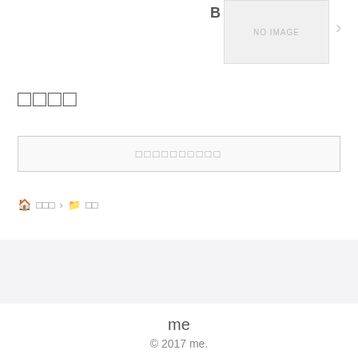[Figure (screenshot): NO IMAGE placeholder box with label B and right arrow]
□□□□
□□□□□□□□□□
🏠 □□□ › 📁 □□
me
© 2017 me.